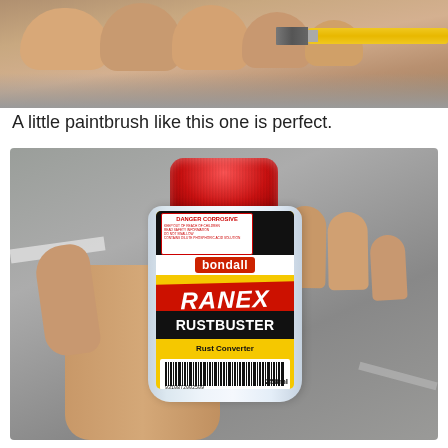[Figure (photo): Photo of a hand holding a small paintbrush with a yellow handle against an outdoor background]
A little paintbrush like this one is perfect.
[Figure (photo): Photo of a hand holding a small bottle of Bondall Ranex Rustbuster Industrial Strength Rust Converter Stain Remover & Cleaner, 250ml, with a red cap and yellow label, showing DANGER CORROSIVE warning, barcode 9310872002509]